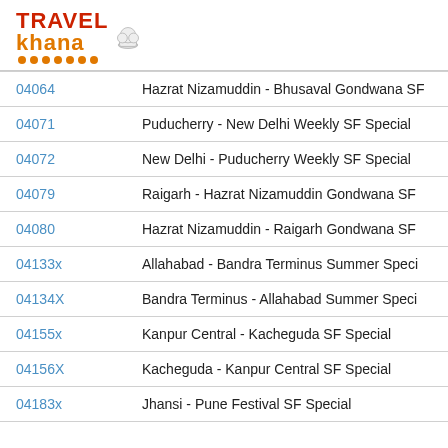[Figure (logo): Travel Khana logo with chef hat icon and orange dots underline]
| Train No. | Train Name |
| --- | --- |
| 04064 | Hazrat Nizamuddin - Bhusaval Gondwana SF... |
| 04071 | Puducherry - New Delhi Weekly SF Special |
| 04072 | New Delhi - Puducherry Weekly SF Special |
| 04079 | Raigarh - Hazrat Nizamuddin Gondwana SF... |
| 04080 | Hazrat Nizamuddin - Raigarh Gondwana SF... |
| 04133x | Allahabad - Bandra Terminus Summer Speci... |
| 04134X | Bandra Terminus - Allahabad Summer Speci... |
| 04155x | Kanpur Central - Kacheguda SF Special |
| 04156X | Kacheguda - Kanpur Central SF Special |
| 04183x | Jhansi - Pune Festival SF Special |